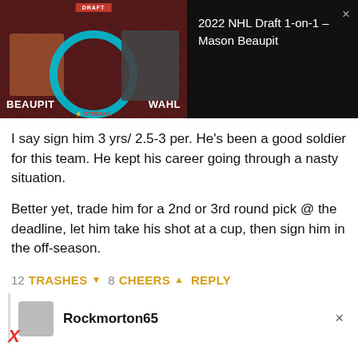[Figure (screenshot): Video thumbnail showing 2022 NHL Draft 1-on-1 with Mason Beaupit and Wahl, with draft branding. Right side shows black panel with video title.]
I say sign him 3 yrs/ 2.5-3 per. He's been a good soldier for this team. He kept his career going through a nasty situation.
Better yet, trade him for a 2nd or 3rd round pick @ the deadline, let him take his shot at a cup, then sign him in the off-season.
12 TRASHES ▼ 8 CHEERS ▲ REPLY
Rockmorton65